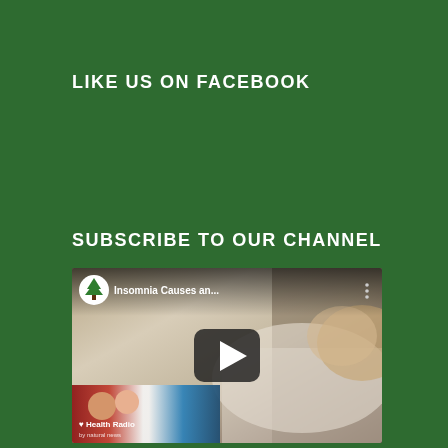LIKE US ON FACEBOOK
SUBSCRIBE TO OUR CHANNEL
[Figure (screenshot): YouTube video thumbnail showing a sleeping person with a channel icon (green tree logo), video title 'Insomnia Causes an...', a play button, and a Health Radio overlay in the bottom left corner.]